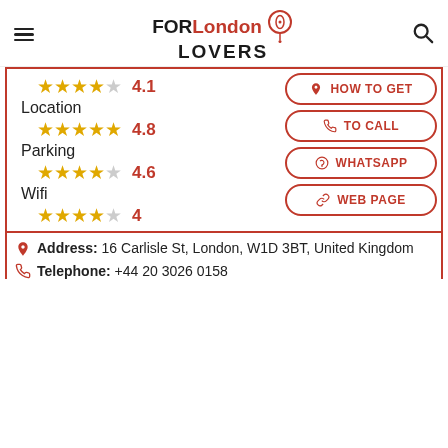FORLondon LOVERS
Location 4.1 stars
Location 4.8 stars
Parking 4.6 stars
Wifi 4 stars
HOW TO GET
TO CALL
WHATSAPP
WEB PAGE
Address: 16 Carlisle St, London, W1D 3BT, United Kingdom
Telephone: +44 20 3026 0158